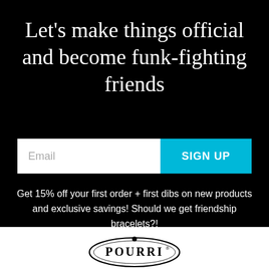Let's make things official and become funk-fighting friends
[Figure (other): Email input field with placeholder 'Email' and a cyan 'SIGN UP' button]
Get 15% off your first order + first dibs on new products and exclusive savings! Should we get friendship bracelets?!
[Figure (logo): Pourri brand logo — oval shape with text 'POURRI' and a small leaf/flower mark]